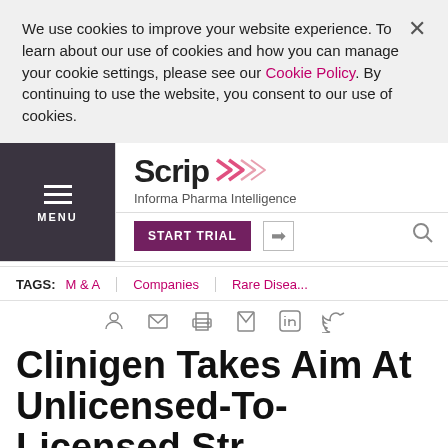We use cookies to improve your website experience. To learn about our use of cookies and how you can manage your cookie settings, please see our Cookie Policy. By continuing to use the website, you consent to our use of cookies.
Scrip | Informa Pharma Intelligence
TAGS: M & A | Companies | Rare Disea...
Clinigen Takes Aim At Unlicensed-To-Licensed Strategy With Quantum P...